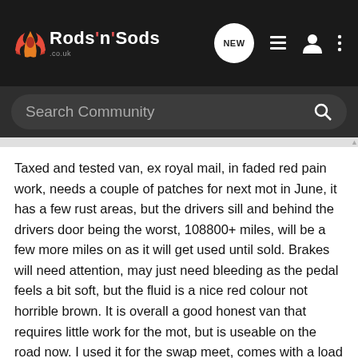Rods'n'Sods
Search Community
Taxed and tested van, ex royal mail, in faded red pain work, needs a couple of patches for next mot in June, it has a few rust areas, but the drivers sill and behind the drivers door being the worst, 108800+ miles, will be a few more miles on as it will get used until sold. Brakes will need attention, may just need bleeding as the pedal feels a bit soft, but the fluid is a nice red colour not horrible brown. It is overall a good honest van that requires little work for the mot, but is useable on the road now. I used it for the swap meet, comes with a load liner in the rear. Everything works as advertised except the stereo has no radio connection, cd side works ok.
I am looking for £400 if it goes for less than £350 I will keep the tax and cash it in, just been recently renewed. Can get pictures if needed.